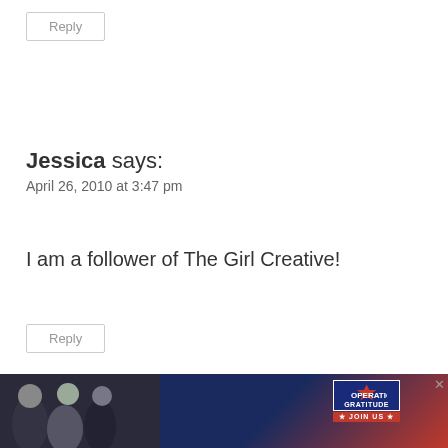Reply
Jessica says:
April 26, 2010 at 3:47 pm
I am a follower of The Girl Creative!
Reply
[Figure (infographic): Share button icon (circular button with share icon)]
[Figure (infographic): What's Next panel with food image thumbnail and text 'One Pot Meals and Easy...']
[Figure (infographic): Advertisement banner: Operation Gratitude - Go Beyond Saying Thank You - Join Us]